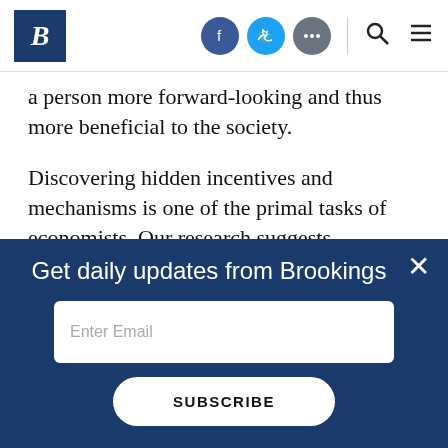Brookings Institution — navigation bar with logo, social icons, search, and menu
a person more forward-looking and thus more beneficial to the society.
Discovering hidden incentives and mechanisms is one of the primal tasks of economists. Our research suggests, surprisingly, that both the Center of Disease Control and Prevention and the Department of the Treasury are important players in
Get daily updates from Brookings
Enter Email
SUBSCRIBE